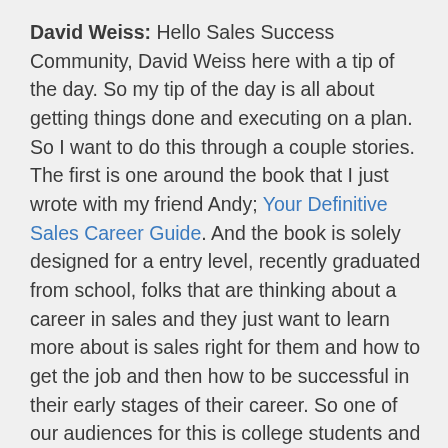David Weiss: Hello Sales Success Community, David Weiss here with a tip of the day. So my tip of the day is all about getting things done and executing on a plan. So I want to do this through a couple stories. The first is one around the book that I just wrote with my friend Andy; Your Definitive Sales Career Guide. And the book is solely designed for a entry level, recently graduated from school, folks that are thinking about a career in sales and they just want to learn more about is sales right for them and how to get the job and then how to be successful in their early stages of their career. So one of our audiences for this is college students and then also deans and professors of colleges that if they liked the book and are willing to recommend it, they can help us as influencers to our target audience. So I found a publication online that